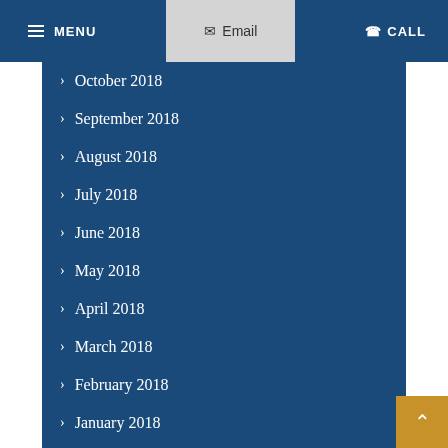MENU  Email  CALL
October 2018
September 2018
August 2018
July 2018
June 2018
May 2018
April 2018
March 2018
February 2018
January 2018